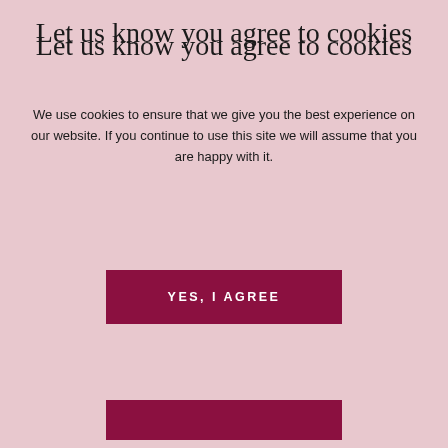Let us know you agree to cookies
We use cookies to ensure that we give you the best experience on our website. If you continue to use this site we will assume that you are happy with it.
YES, I AGREE
REJECT
system here. Alternatively, call us on 020 7888 8078 or email us at info@fleestreetclinic.com.
SHARE THIS ARTICLE
[Figure (logo): reCAPTCHA badge with rotating arrows logo and Privacy · Terms text]
PREVIOUS POST